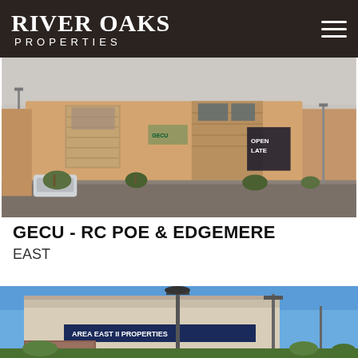River Oaks Properties
[Figure (photo): Exterior photo of GECU RC Poe & Edgemere banking branch, a tan/brick corner building with stone accents, parking lot, trees, and 'Open Late' signage visible]
GECU - RC POE & EDGEMERE
EAST
[Figure (photo): Exterior photo of another commercial property building with blue sky background, tall light poles, and a business sign on the facade]